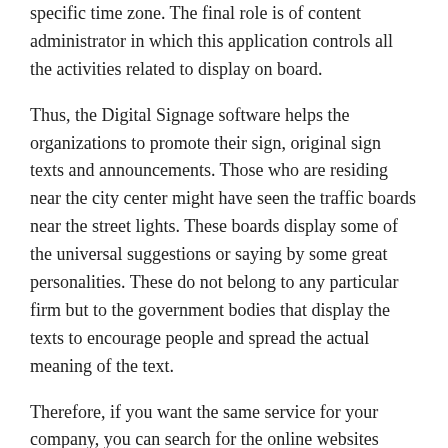specific time zone. The final role is of content administrator in which this application controls all the activities related to display on board.
Thus, the Digital Signage software helps the organizations to promote their sign, original sign texts and announcements. Those who are residing near the city center might have seen the traffic boards near the street lights. These boards display some of the universal suggestions or saying by some great personalities. These do not belong to any particular firm but to the government bodies that display the texts to encourage people and spread the actual meaning of the text.
Therefore, if you want the same service for your company, you can search for the online websites which offer these display boards as well as software application to execute the entire procedure. Their charges are also nominal.